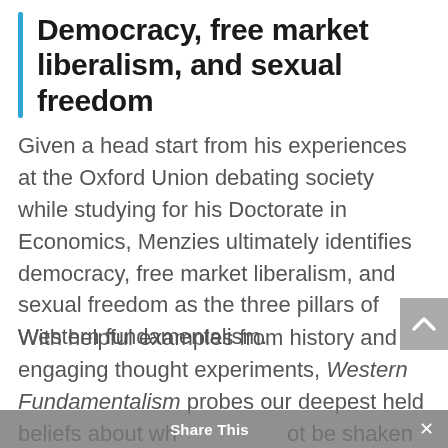Democracy, free market liberalism, and sexual freedom
Given a head start from his experiences at the Oxford Union debating society while studying for his Doctorate in Economics, Menzies ultimately identifies democracy, free market liberalism, and sexual freedom as the three pillars of Western fundamentalism.
With helpful examples from history and engaging thought experiments, Western Fundamentalism probes our deepest held beliefs about wh[Share This]ot be shaken –